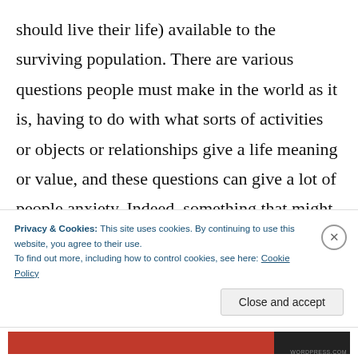should live their life) available to the surviving population. There are various questions people must make in the world as it is, having to do with what sorts of activities or objects or relationships give a life meaning or value, and these questions can give a lot of people anxiety. Indeed, something that might plague people of my generation in particular (the so-called millennials) is that we feel as though we have no useful guidance in making these decisions. Oh,
Privacy & Cookies: This site uses cookies. By continuing to use this website, you agree to their use. To find out more, including how to control cookies, see here: Cookie Policy
Close and accept